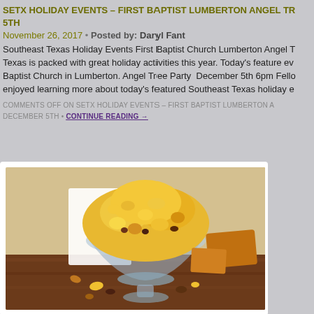SETX HOLIDAY EVENTS – FIRST BAPTIST LUMBERTON ANGEL TR 5TH
November 26, 2017 • Posted by: Daryl Fant
Southeast Texas Holiday Events First Baptist Church Lumberton Angel T Texas is packed with great holiday activities this year. Today's feature ev Baptist Church in Lumberton. Angel Tree Party December 5th 6pm Fello enjoyed learning more about today's featured Southeast Texas holiday e
COMMENTS OFF ON SETX HOLIDAY EVENTS – FIRST BAPTIST LUMBERTON A DECEMBER 5TH • CONTINUE READING →
[Figure (photo): Photo of a bowl of cheese popcorn with Pop Central Popcorn logo in top left corner, cheese blocks and nuts/raisins around the bowl on a wooden surface]